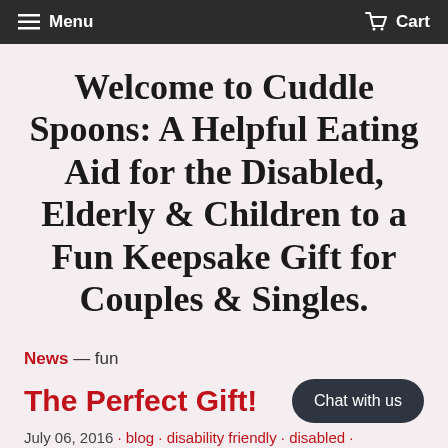Menu   Cart
Welcome to Cuddle Spoons: A Helpful Eating Aid for the Disabled, Elderly & Children to a Fun Keepsake Gift for Couples & Singles.
News — fun
The Perfect Gift!
July 06, 2016 · blog · disability friendly · disabled ·